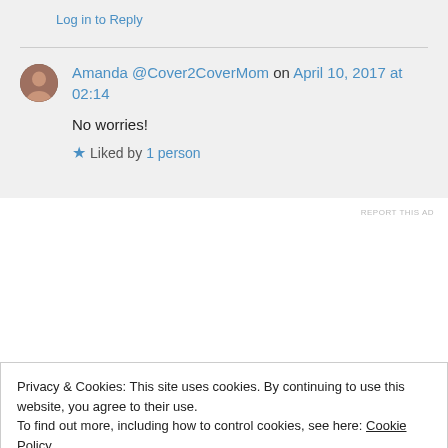Log in to Reply
Amanda @Cover2CoverMom on April 10, 2017 at 02:14
No worries!
Liked by 1 person
REPORT THIS AD
Privacy & Cookies: This site uses cookies. By continuing to use this website, you agree to their use.
To find out more, including how to control cookies, see here: Cookie Policy
Close and accept
dazzled by it.. Well done yours is great 🏆